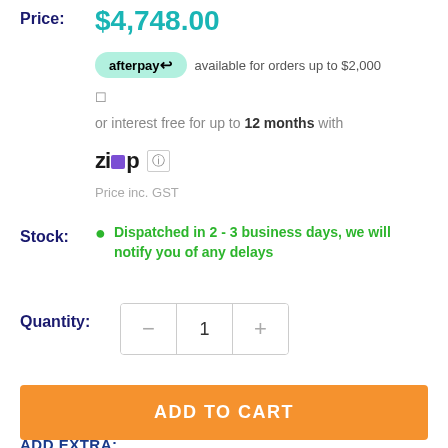Price: $4,748.00
afterpay available for orders up to $2,000
or interest free for up to 12 months with
[Figure (logo): Zip logo with purple square]
Price inc. GST
Stock: Dispatched in 2 - 3 business days, we will notify you of any delays
Quantity: 1
ADD TO CART
ADD EXTRA: